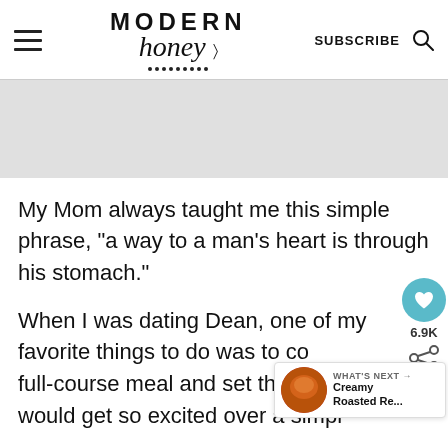Modern Honey — SUBSCRIBE
[Figure (other): Gray advertisement placeholder banner]
My Mom always taught me this simple phrase, "a way to a man's heart is through his stomach."
When I was dating Dean, one of my favorite things to do was to cook a full-course meal and set the table. He would get so excited over a simple